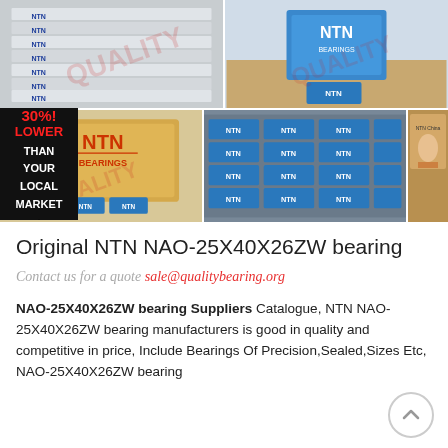[Figure (photo): Grid of 4 product photos showing NTN bearing boxes and packages. Top row: left shows stacked NTN bearing boxes, right shows NTN bearing box with blue lid open. Bottom row: left shows NTN branded cardboard shipping box with smaller NTN bearing boxes in front, right shows rows of blue NTN bearing packages on shelving. A small thumbnail is visible at far right.]
Original NTN NAO-25X40X26ZW bearing
Contact us for a quote sale@qualitybearing.org
NAO-25X40X26ZW bearing Suppliers Catalogue, NTN NAO-25X40X26ZW bearing manufacturers is good in quality and competitive in price, Include Bearings Of Precision,Sealed,Sizes Etc, NAO-25X40X26ZW bearing